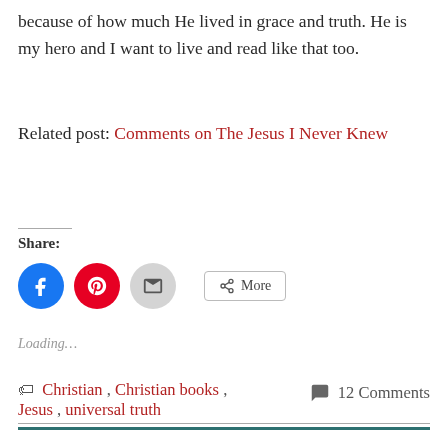because of how much He lived in grace and truth. He is my hero and I want to live and read like that too.
Related post: Comments on The Jesus I Never Knew
Share:
[Figure (screenshot): Share buttons: Facebook (blue circle), Pinterest (red circle), Email (grey circle), More (outlined button with share icon)]
Loading...
Christian, Christian books, Jesus, universal truth  12 Comments